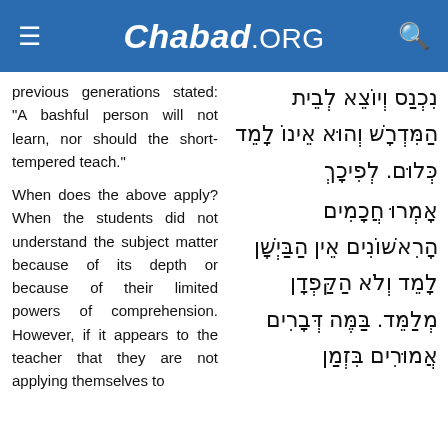Chabad.ORG
previous generations stated: "A bashful person will not learn, nor should the short-tempered teach."
נִכְנַס וְיוֹצֵא לְבֵית הַמִּדְרָשׁ וְהוּא אֵינוֹ לָמֵד כְּלוּם. לְפִיכָךְ
When does the above apply? When the students did not understand the subject matter because of its depth or because of their limited powers of comprehension. However, if it appears to the teacher that they are not applying themselves to
אָמְרוּ חֲכָמִים הָרִאשׁוֹנִים אֵין הַבַּיְשָׁן לָמֵד וְלֹא הַקַּפְדָן מְלַמֵּד. בַּמֶּה דְּבָרִים אֲמוּרִים בִּזְמַן